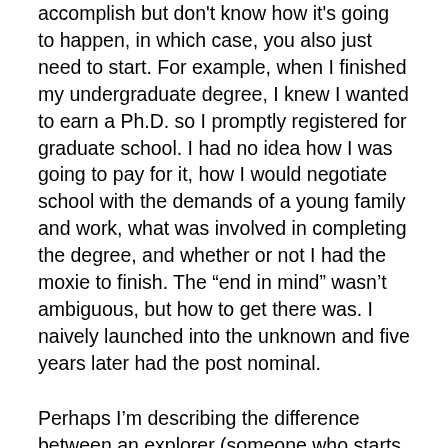accomplish but don't know how it's going to happen, in which case, you also just need to start. For example, when I finished my undergraduate degree, I knew I wanted to earn a Ph.D. so I promptly registered for graduate school. I had no idea how I was going to pay for it, how I would negotiate school with the demands of a young family and work, what was involved in completing the degree, and whether or not I had the moxie to finish. The “end in mind” wasn’t ambiguous, but how to get there was. I naively launched into the unknown and five years later had the post nominal.
Perhaps I’m describing the difference between an explorer (someone who starts without the end in mind) and a pioneer (someone starts with the end in mind). An explorer has a general goal (ex. discover the new world) but is not sure how to get there; he has a compass but no map. A pioneer follows the path forged by the explorer (he has an end in mind), and may even improve the